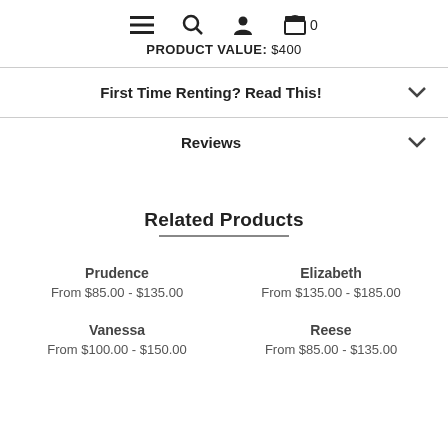Navigation icons: menu, search, account, cart (0). PRODUCT VALUE: $400
First Time Renting? Read This!
Reviews
Related Products
Prudence
From $85.00 - $135.00
Elizabeth
From $135.00 - $185.00
Vanessa
From $100.00 - $150.00
Reese
From $85.00 - $135.00